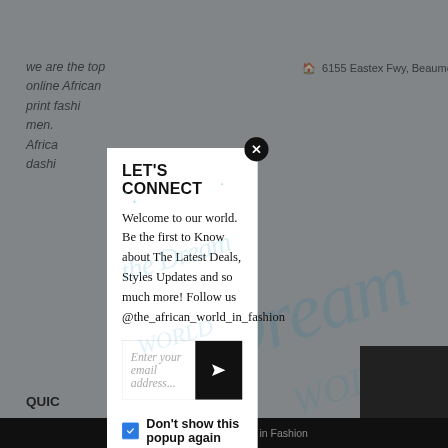we are the top online African print fashi... men. Africa... dashi...
6155 Eastex Fwy, Beaumont...
QUIC...
> Car...
> Priv...
> Ter...
> PAR...
[Figure (screenshot): Website popup/modal overlay for newsletter signup. Contains title 'LET'S CONNECT', descriptive text, email input field with send button, and a checkbox 'Don't show this popup again'. A close (X) button is in the top-right corner.]
LET'S CONNECT
Welcome to our world. Be the first to Know about The Latest Deals, Styles Updates and so much more! Follow us @the_african_world_in_fashion
Enter your email address...
Don't show this popup again
©2022 The Dream World in Fashion